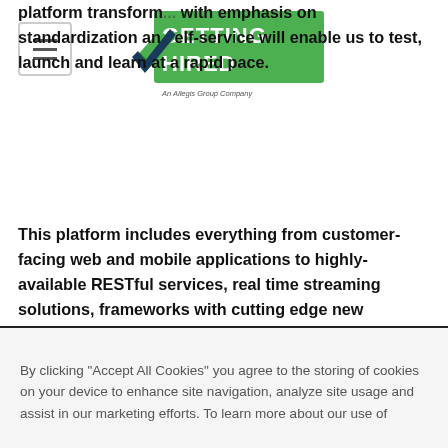[Figure (logo): Getting Hired logo - green text with checkmark, 'An Allegis Group Company' tagline]
platform transform... with emphasis on standardization and self-service will enable us to test, launch and learn at a rapid pace.
This platform includes everything from customer-facing web and mobile applications to highly-available RESTful services, real time streaming solutions, frameworks with cutting edge new industry standards in the market , internal facing self-service tools, back-end Java based systems and SQL/NoSql databases. All our applications are cloud native and fully automated.
What You'll Do:
By clicking “Accept All Cookies” you agree to the storing of cookies on your device to enhance site navigation, analyze site usage and assist in our marketing efforts. To learn more about our use of